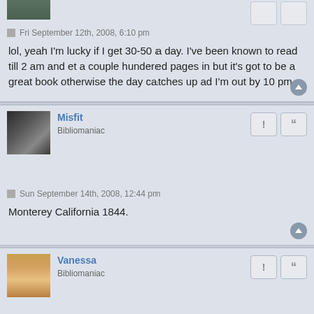Fri September 12th, 2008, 6:10 pm
lol, yeah I'm lucky if I get 30-50 a day. I've been known to read till 2 am and et a couple hundered pages in but it's got to be a great book otherwise the day catches up ad I'm out by 10 pm
Misfit
Bibliomaniac
Sun September 14th, 2008, 12:44 pm
Monterey California 1844.
Vanessa
Bibliomaniac
Sun September 14th, 2008, 2:41 pm
I'm in London in 1711.